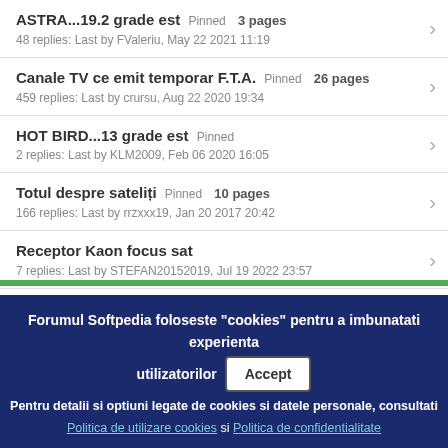ASTRA...19.2 grade est Pinned 3 pages
48 replies: Last by FValeriu, May 22 2021 11:19
Canale TV ce emit temporar F.T.A. Pinned 26 pages
459 replies: Last by crursu, Aug 22 2020 19:34
HOT BIRD...13 grade est Pinned
2 replies: Last by KLM2009, Feb 06 2020 16:05
Totul despre sateliți Pinned 10 pages
166 replies: Last by rrzxxx19, Jan 20 2017 20:42
Receptor Kaon focus sat
7 replies: Last by STEFAN20152019, Jul 19 2022 23:57
Recepție Thor 1W
3 replies: Last by STEFAN20152019, Jul 18 2022 21:23
Forumul Softpedia foloseste "cookies" pentru a imbunatati experienta utilizatorilor Accept
Pentru detalii si optiuni legate de cookies si datele personale, consultati
Politica de utilizare cookies si Politica de confidentialitate